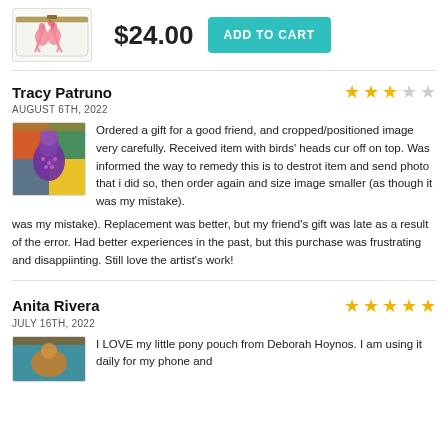[Figure (photo): White zippered pouch with two pink flamingos illustration]
$24.00
ADD TO CART
Tracy Patruno
AUGUST 6TH, 2022
[Figure (photo): Colorful art pouch with bird illustration in bright colors]
Ordered a gift for a good friend, and cropped/positioned image very carefully. Received item with birds' heads cur off on top. Was informed the way to remedy this is to destrot item and send photo that i did so, then order again and size image smaller (as though it was my mistake). Replacement was better, but my friend's gift was late as a result of the error. Had better experiences in the past, but this purchase was frustrating and disappiinting. Still love the artist's work!
Anita Rivera
JULY 16TH, 2022
[Figure (photo): Colorful art pouch partially visible at bottom]
I LOVE my little pony pouch from Deborah Hoynos. I am using it daily for my phone and